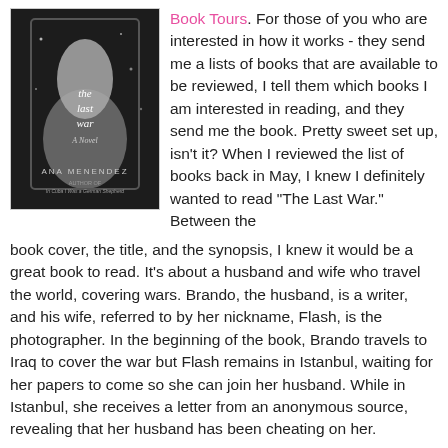[Figure (photo): Book cover of 'The Last War' by Ana Menendez, black and white image showing a woman in a wedding dress, with title and author text]
Book Tours. For those of you who are interested in how it works - they send me a lists of books that are available to be reviewed, I tell them which books I am interested in reading, and they send me the book. Pretty sweet set up, isn't it? When I reviewed the list of books back in May, I knew I definitely wanted to read "The Last War." Between the book cover, the title, and the synopsis, I knew it would be a great book to read. It's about a husband and wife who travel the world, covering wars. Brando, the husband, is a writer, and his wife, referred to by her nickname, Flash, is the photographer. In the beginning of the book, Brando travels to Iraq to cover the war but Flash remains in Istanbul, waiting for her papers to come so she can join her husband. While in Istanbul, she receives a letter from an anonymous source, revealing that her husband has been cheating on her.
Receiving this letter really shakes Flash up and makes her re-examine her relationship with Brando. This excerpt sums up how the letter impacted her: